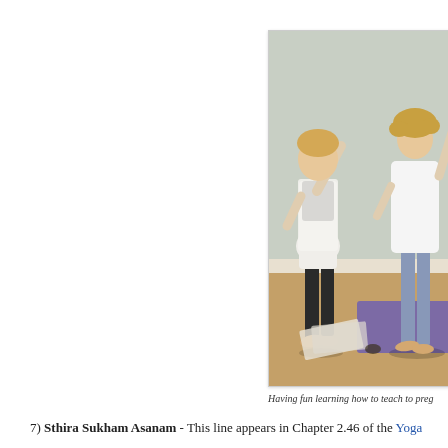[Figure (photo): Two women doing yoga poses against a wall, one appears to be pregnant wearing a white tank top and black capri pants, the other in a white top and light blue pants, with a purple yoga mat visible on a wooden floor]
Having fun learning how to teach to preg...
7) Sthira Sukham Asanam - This line appears in Chapter 2.46 of the Yoga...